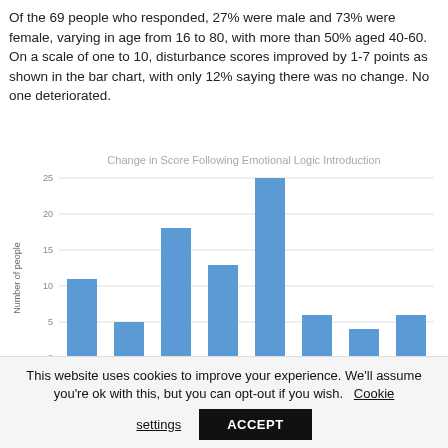Of the 69 people who responded, 27% were male and 73% were female, varying in age from 16 to 80, with more than 50% aged 40-60. On a scale of one to 10, disturbance scores improved by 1-7 points as shown in the bar chart, with only 12% saying there was no change. No one deteriorated.
[Figure (bar-chart): Change in Score Following Emotional Logic Introduction]
This website uses cookies to improve your experience. We'll assume you're ok with this, but you can opt-out if you wish. Cookie settings ACCEPT